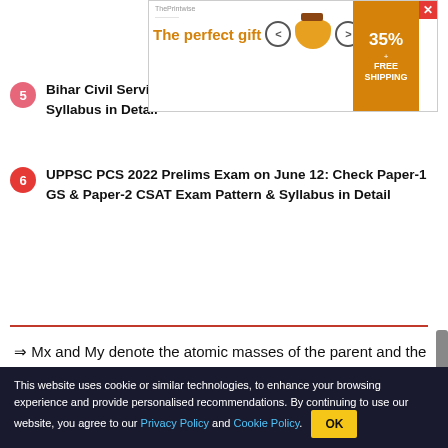[Figure (screenshot): Advertisement banner: 'The perfect gift' with navigation arrows, bowl image, 35% FREE SHIPPING offer and close button]
Bihar Civil Services General Studies (GS) Exam Pattern & Syllabus in Detail
UPPSC PCS 2022 Prelims Exam on June 12: Check Paper-1 GS & Paper-2 CSAT Exam Pattern & Syllabus in Detail
⇒ Mx and My denote the atomic masses of the parent and the daughter nuclei respectively in a radioactive decay. The Q-value for a β⁻ decay is Q1 and that for a β⁺ decay is Q2. If me denotes the mass of an electron. (Several statements were given and candidates need to choose the correct one).
This website uses cookie or similar technologies, to enhance your browsing experience and provide personalised recommendations. By continuing to use our website, you agree to our Privacy Policy and Cookie Policy.